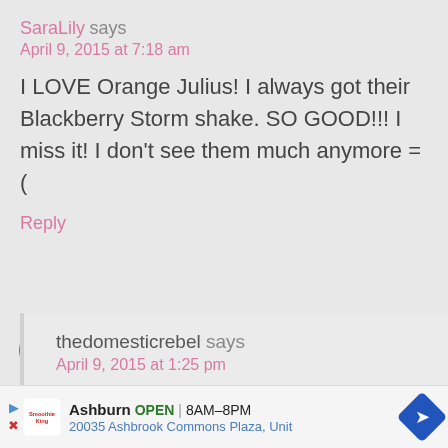SaraLily says
April 9, 2015 at 7:18 am
I LOVE Orange Julius! I always got their Blackberry Storm shake. SO GOOD!!! I miss it! I don't see them much anymore =(
Reply
[Figure (other): Accessibility icon — blue circle with white stick figure person symbol]
thedomesticrebel says
April 9, 2015 at 1:25 pm
Ashburn OPEN 8AM–8PM 20035 Ashbrook Commons Plaza, Unit